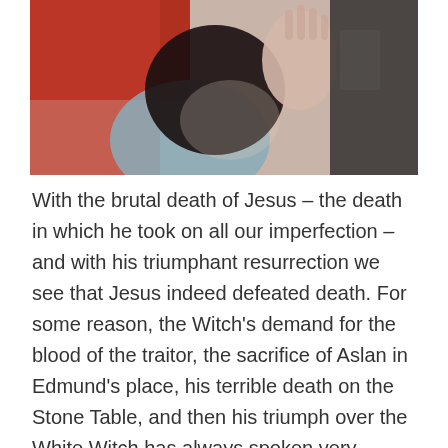[Figure (photo): A person with dark hair bowing their head, hands raised, wearing a light blue top, with another person in red/black visible in the background. An emotional or distressed scene.]
With the brutal death of Jesus – the death in which he took on all our imperfection – and with his triumphant resurrection we see that Jesus indeed defeated death. For some reason, the Witch's demand for the blood of the traitor, the sacrifice of Aslan in Edmund's place, his terrible death on the Stone Table, and then his triumph over the White Witch has always spoken very poignantly to me of all that the Gospel conveys. With the days of the events of Jesus's last days so near, the story line of Narnia spoke all the more to me of the glorious grace we have in Christ.